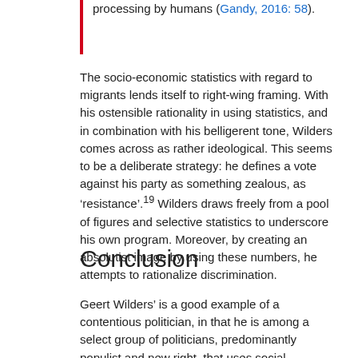processing by humans (Gandy, 2016: 58).
The socio-economic statistics with regard to migrants lends itself to right-wing framing. With his ostensible rationality in using statistics, and in combination with his belligerent tone, Wilders comes across as rather ideological. This seems to be a deliberate strategy: he defines a vote against his party as something zealous, as ‘resistance’.19 Wilders draws freely from a pool of figures and selective statistics to underscore his own program. Moreover, by creating an absolutist image by using these numbers, he attempts to rationalize discrimination.
Conclusion
Geert Wilders’ is a good example of a contentious politician, in that he is among a select group of politicians, predominantly populist and new right, that uses social media to broadcast to the electorate. Particularly,